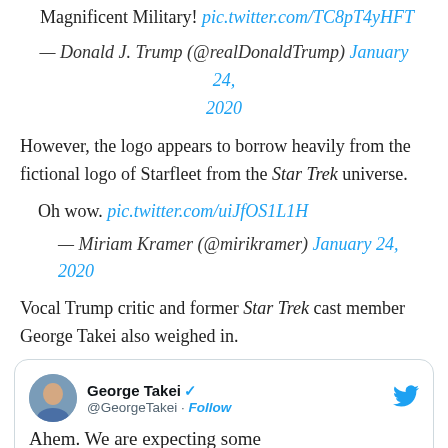Magnificent Military! pic.twitter.com/TC8pT4yHFT
— Donald J. Trump (@realDonaldTrump) January 24, 2020
However, the logo appears to borrow heavily from the fictional logo of Starfleet from the Star Trek universe.
Oh wow. pic.twitter.com/uiJfOS1L1H
— Miriam Kramer (@mirikramer) January 24, 2020
Vocal Trump critic and former Star Trek cast member George Takei also weighed in.
[Figure (screenshot): Embedded tweet from George Takei (@GeorgeTakei) with Follow button and Twitter bird logo, beginning with text 'Ahem. We are expecting some']